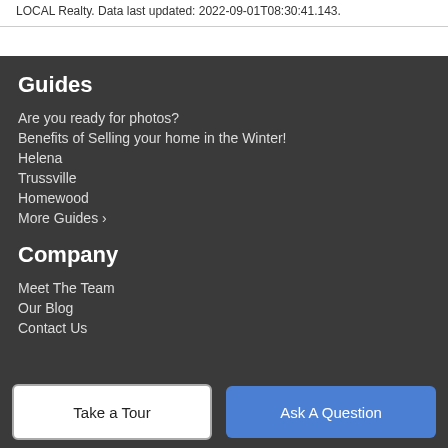LOCAL Realty. Data last updated: 2022-09-01T08:30:41.143.
Guides
Are you ready for photos?
Benefits of Selling your home in the Winter!
Helena
Trussville
Homewood
More Guides ›
Company
Meet The Team
Our Blog
Contact Us
Take a Tour
Ask A Question